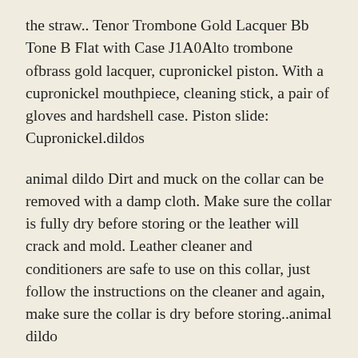the straw.. Tenor Trombone Gold Lacquer Bb Tone B Flat with Case J1A0Alto trombone ofbrass gold lacquer, cupronickel piston. With a cupronickel mouthpiece, cleaning stick, a pair of gloves and hardshell case. Piston slide: Cupronickel.dildos
animal dildo Dirt and muck on the collar can be removed with a damp cloth. Make sure the collar is fully dry before storing or the leather will crack and mold. Leather cleaner and conditioners are safe to use on this collar, just follow the instructions on the cleaner and again, make sure the collar is dry before storing..animal dildo
The thong is a big large to make it one size fits most, and the strings are long enough that I, at a size 12, can comfortably tie them on and wear the thong like regular underwear if I choose. I don't often do that simply because they're so thin. The back of the thong is a bit wide, so may be uncomfortable for people not used to